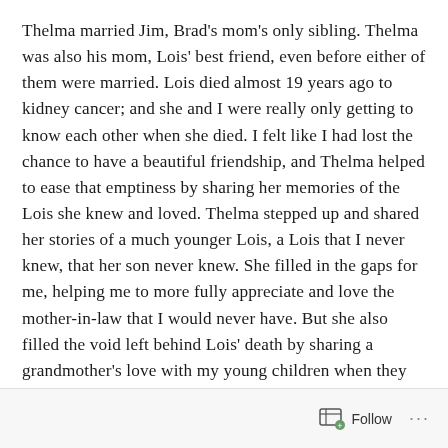Thelma married Jim, Brad's mom's only sibling. Thelma was also his mom, Lois' best friend, even before either of them were married. Lois died almost 19 years ago to kidney cancer; and she and I were really only getting to know each other when she died. I felt like I had lost the chance to have a beautiful friendship, and Thelma helped to ease that emptiness by sharing her memories of the Lois she knew and loved. Thelma stepped up and shared her stories of a much younger Lois, a Lois that I never knew, that her son never knew. She filled in the gaps for me, helping me to more fully appreciate and love the mother-in-law that I would never have. But she also filled the void left behind Lois' death by sharing a grandmother's love with my young children when they most needed a grandmother's love.
Follow ···